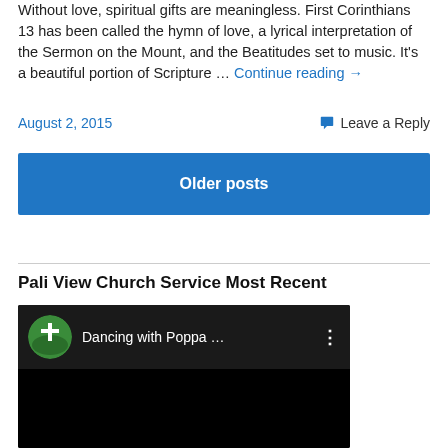Without love, spiritual gifts are meaningless. First Corinthians 13 has been called the hymn of love, a lyrical interpretation of the Sermon on the Mount, and the Beatitudes set to music. It's a beautiful portion of Scripture … Continue reading →
August 2, 2015
Leave a Reply
Older posts
Pali View Church Service Most Recent
[Figure (screenshot): YouTube video thumbnail showing a church channel logo with a cross and green hills, title 'Dancing with Poppa ...' and three-dot menu icon, with black video preview area below.]